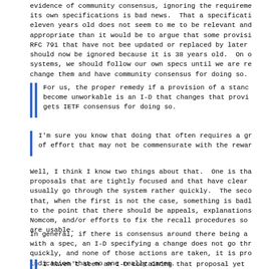evidence of community consensus, ignoring the requireme its own specifications is bad news.  That a specificati eleven years old does not seem to me to be relevant and appropriate than it would be to argue that some provisi RFC 791 that have not bee updated or replaced by later should now be ignored because it is 38 years old.  On o systems, we should follow our own specs until we are re change them and have community consensus for doing so.
For us, the proper remedy if a provision of a stan become unworkable is an I-D that changes that provi gets IETF consensus for doing so.
I'm sure you know that doing that often requires a gr of effort that may not be commensurate with the rewar
Well, I think I know two things about that.  One is tha proposals that are tightly focused and that have clear usually go through the system rather quickly.  The seco that, when the first is not the case, something is badl to the point that there should be appeals, explanations Nomcom, and/or efforts to fix the recall procedures so are usable.
In general, if there is consensus around there being a with a spec, an I-D specifying a change does not go thr quickly, and none of those actions are taken, it is pro indication that no one really cares.
I haven't seen an I-D containing that proposal yet